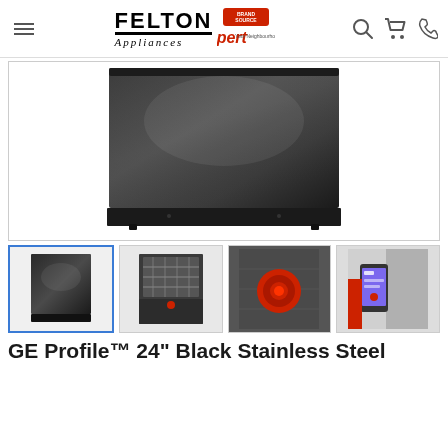Felton Appliances — Brand Source Expert
[Figure (photo): Large product photo of GE Profile Black Stainless Steel dishwasher, front-closed view, dark metallic finish]
[Figure (photo): Thumbnail 1 (selected): GE Profile dishwasher front closed view, black stainless]
[Figure (photo): Thumbnail 2: GE Profile dishwasher open interior view showing racks]
[Figure (photo): Thumbnail 3: Close-up of red circular filter/nozzle on black stainless surface]
[Figure (photo): Thumbnail 4: Hand holding smartphone with app, dishwasher in background]
GE Profile™ 24" Black Stainless Steel